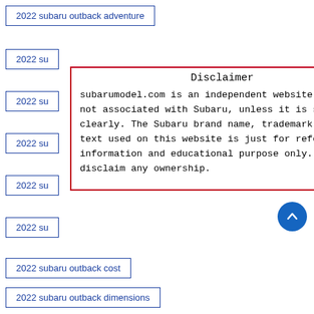2022 subaru outback adventure
2022 su…
2022 su…
2022 su…
2022 su…
2022 su…
2022 subaru outback cost
2022 subaru outback dimensions
Disclaimer

subarumodel.com is an independent website and is not associated with Subaru, unless it is specified clearly. The Subaru brand name, trademark, image, text used on this website is just for reference, information and educational purpose only. We disclaim any ownership.